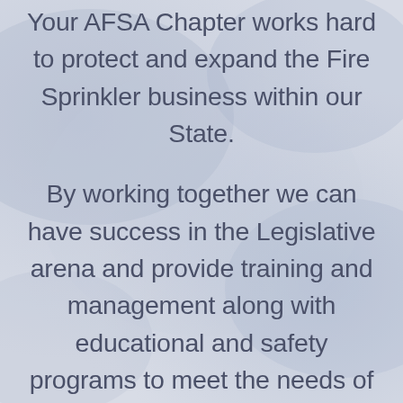Your AFSA Chapter works hard to protect and expand the Fire Sprinkler business within our State.

By working together we can have success in the Legislative arena and provide training and management along with educational and safety programs to meet the needs of our members. We can also expand the business opportunities that we have come to enjoy and expect here in Tennessee.

Your AFSA Chapter will continue to offer valuable, affordable and necessary